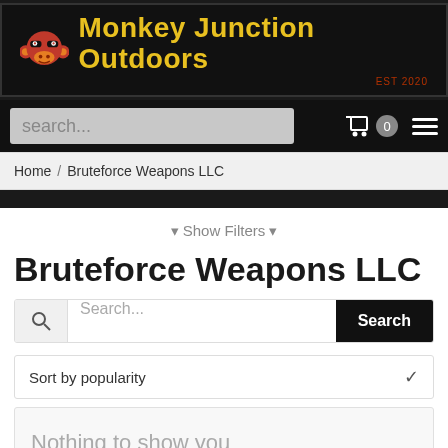[Figure (logo): Monkey Junction Outdoors logo with red monkey icon and yellow text on dark background, EST 2020]
search...  0
Home / Bruteforce Weapons LLC
▼ Show Filters ▼
Bruteforce Weapons LLC
Search...  Search
Sort by popularity
Nothing to show you